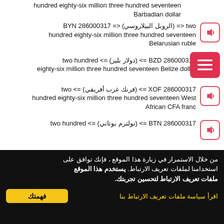hundred eighty-six million three hundred seventeen Barbadian dollar
286000317 BYN <= (الروبل البيلاروسي) <= two hundred eighty-six million three hundred seventeen Belarusian ruble
286000317 BZD <= (دولار بليز) <= two hundred eighty-six million three hundred seventeen Belize dollar
286000317 XOF <= (فرنك غرب أفريقي) <= two hundred eighty-six million three hundred seventeen West African CFA franc
286000317 BTN <= (نولترم بوتاني) <= two hundred hundred
من خلال الاستمرار في زيارة هذا الموقع ، فإنك توافق على استخدامنا لملفات تعريف الارتباط. يستخدم هذا الموقع ملفات تعريف الارتباط لتحسين تجربتك.
اقرأ سياسة ملفات تعريف الارتباط بنا
فهمتك